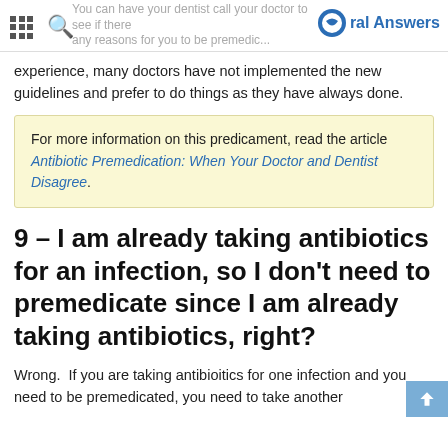Oral Answers
experience, many doctors have not implemented the new guidelines and prefer to do things as they have always done.
For more information on this predicament, read the article Antibiotic Premedication: When Your Doctor and Dentist Disagree.
9 – I am already taking antibiotics for an infection, so I don't need to premedicate since I am already taking antibiotics, right?
Wrong.  If you are taking antibioitics for one infection and you need to be premedicated, you need to take another